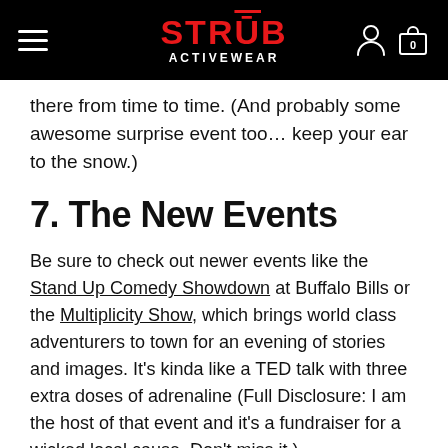STRÜB ACTIVEWEAR
there from time to time. (And probably some awesome surprise event too… keep your ear to the snow.)
7. The New Events
Be sure to check out newer events like the Stand Up Comedy Showdown at Buffalo Bills or the Multiplicity Show, which brings world class adventurers to town for an evening of stories and images. It's kinda like a TED talk with three extra doses of adrenaline (Full Disclosure: I am the host of that event and it's a fundraiser for a wicked local cause. Don't miss it.)
There's nothing like fresh mountain air and a